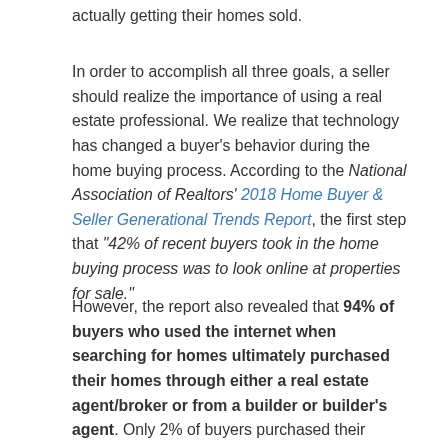actually getting their homes sold.
In order to accomplish all three goals, a seller should realize the importance of using a real estate professional. We realize that technology has changed a buyer's behavior during the home buying process. According to the National Association of Realtors' 2018 Home Buyer & Seller Generational Trends Report, the first step that "42% of recent buyers took in the home buying process was to look online at properties for sale."
However, the report also revealed that 94% of buyers who used the internet when searching for homes ultimately purchased their homes through either a real estate agent/broker or from a builder or builder's agent. Only 2% of buyers purchased their homes directly from a